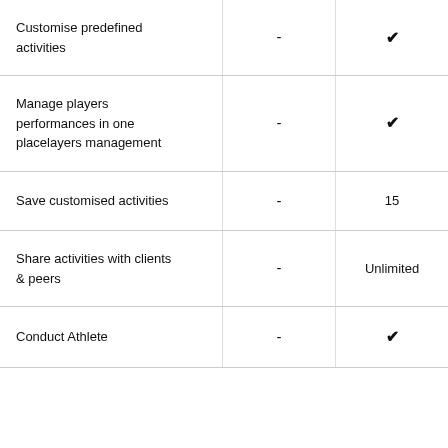| Feature | Plan A | Plan B |
| --- | --- | --- |
| Customise predefined activities | - | ✔ |
| Manage players performances in one placelayers management | - | ✔ |
| Save customised activities | - | 15 |
| Share activities with clients & peers | - | Unlimited |
| Conduct Athlete ... | - | ✔ |